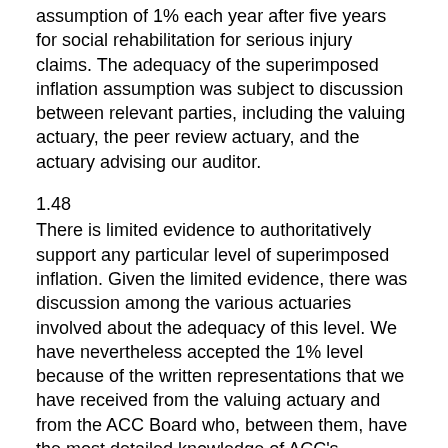assumption of 1% each year after five years for social rehabilitation for serious injury claims. The adequacy of the superimposed inflation assumption was subject to discussion between relevant parties, including the valuing actuary, the peer review actuary, and the actuary advising our auditor.
1.48
There is limited evidence to authoritatively support any particular level of superimposed inflation. Given the limited evidence, there was discussion among the various actuaries involved about the adequacy of this level. We have nevertheless accepted the 1% level because of the written representations that we have received from the valuing actuary and from the ACC Board who, between them, have the most detailed knowledge of ACC's rehabilitation costs.
1.49
However, we requested that the Treasury include some sensitivity analysis on superimposed inflation in Note 17 to the FSS. This discloses that a 1% movement in the